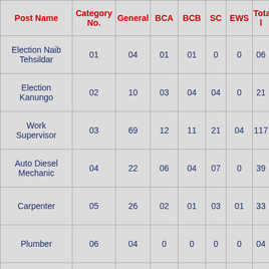| Post Name | Category No. | General | BCA | BCB | SC | EWS | Total |
| --- | --- | --- | --- | --- | --- | --- | --- |
| Election Naib Tehsildar | 01 | 04 | 01 | 01 | 0 | 0 | 06 |
| Election Kanungo | 02 | 10 | 03 | 04 | 04 | 0 | 21 |
| Work Supervisor | 03 | 69 | 12 | 11 | 21 | 04 | 117 |
| Auto Diesel Mechanic | 04 | 22 | 06 | 04 | 07 | 0 | 39 |
| Carpenter | 05 | 26 | 02 | 01 | 03 | 01 | 33 |
| Plumber | 06 | 04 | 0 | 0 | 0 | 0 | 04 |
| Telephone | 07 | 06 | 01 | 01 | 01 | 0 | 09 |